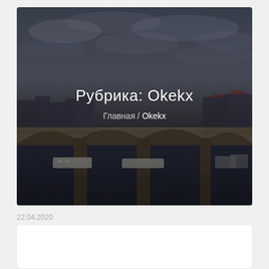[Figure (photo): A dark atmospheric photograph of an old stone bridge (Charles Bridge in Prague) with multiple arches spanning a river. City buildings visible in the background under a cloudy sky. Dark and moody tones.]
Рубрика: Okekx
Главная / Okekx
22.04.2020